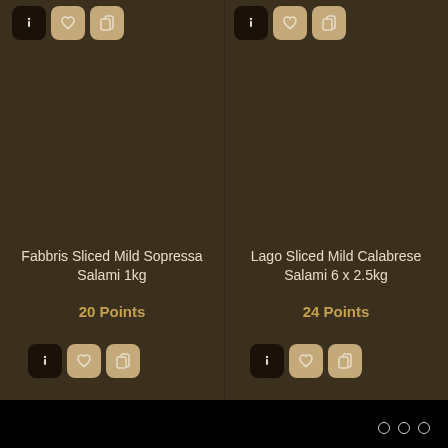[Figure (screenshot): Product card for Fabbris Sliced Mild Sopressa Salami 1kg showing icon buttons at top and bottom]
Fabbris Sliced Mild Sopressa Salami 1kg
20 Points
[Figure (screenshot): Product card for Lago Sliced Mild Calabrese Salami 6 x 2.5kg showing icon buttons at top and bottom]
Lago Sliced Mild Calabrese Salami 6 x 2.5kg
24 Points